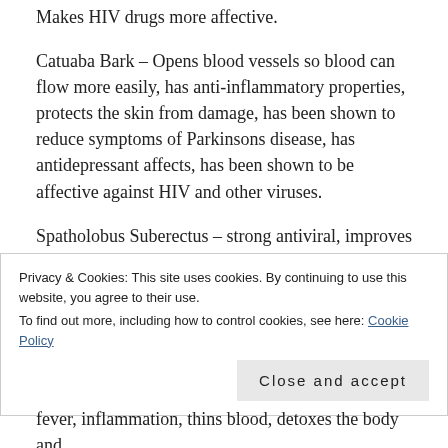Makes HIV drugs more affective.
Catuaba Bark – Opens blood vessels so blood can flow more easily, has anti-inflammatory properties, protects the skin from damage, has been shown to reduce symptoms of Parkinsons disease, has antidepressant affects, has been shown to be affective against HIV and other viruses.
Spatholobus Suberectus – strong antiviral, improves the health of blood, reduces arthritis symptoms, anti-inflammatory, effective against...
Privacy & Cookies: This site uses cookies. By continuing to use this website, you agree to their use.
To find out more, including how to control cookies, see here: Cookie Policy
Close and accept
fever, inflammation, thins blood, detoxes the body and